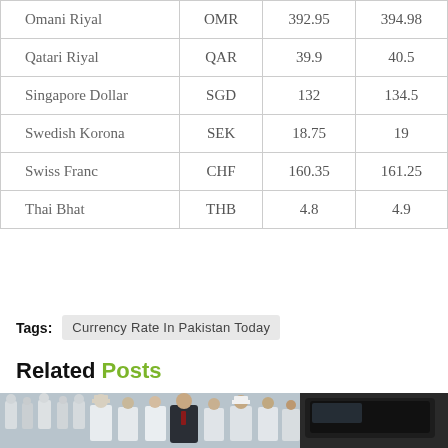| Omani Riyal | OMR | 392.95 | 394.98 |
| Qatari Riyal | QAR | 39.9 | 40.5 |
| Singapore Dollar | SGD | 132 | 134.5 |
| Swedish Korona | SEK | 18.75 | 19 |
| Swiss Franc | CHF | 160.35 | 161.25 |
| Thai Bhat | THB | 4.8 | 4.9 |
Tags: Currency Rate In Pakistan Today
Related Posts
[Figure (photo): A crowd scene with military/naval officers in white uniforms and civilians, including a man in a dark suit near a black SUV vehicle door.]